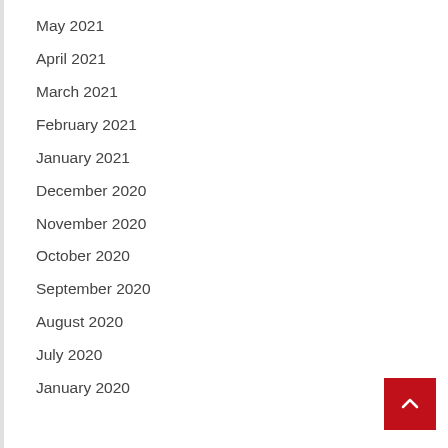May 2021
April 2021
March 2021
February 2021
January 2021
December 2020
November 2020
October 2020
September 2020
August 2020
July 2020
January 2020